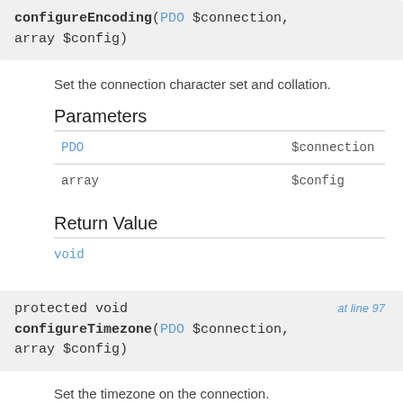configureEncoding(PDO $connection, array $config)
Set the connection character set and collation.
Parameters
| Type | Parameter |
| --- | --- |
| PDO | $connection |
| array | $config |
Return Value
| void |
protected void configureTimezone(PDO $connection, array $config)
at line 97
Set the timezone on the connection.